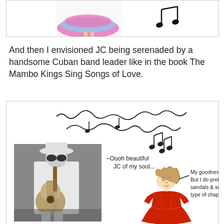[Figure (illustration): Top portion showing a colorful pink and blue dress on the left and two musical notes on the right, on a white background with a border.]
And then I envisioned JC being serenaded by a handsome Cuban band leader like in the book The Mambo Kings Sing Songs of Love.
[Figure (illustration): Illustrated scene: on the left a black-and-white photo of a man in a white suit and hat holding a guitar; above him are hand-drawn musical note scribbles. On the right a cartoon drawing of a woman in a red dress with speech bubble text: 'My goodness, thank you! But I do prefer the pale, sandals & socks English type of chap I'm afraid.' Near the man is text: '-Oooh beautiful JC of my soul...']